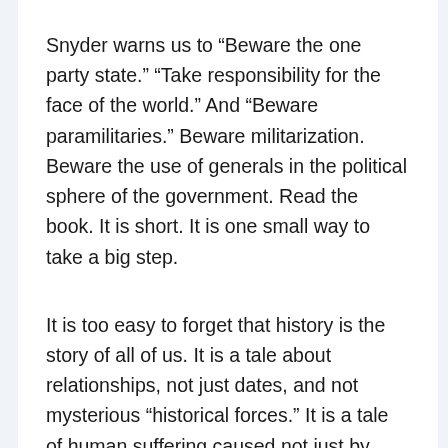Snyder warns us to “Beware the one party state.” “Take responsibility for the face of the world.” And “Beware paramilitaries.” Beware militarization. Beware the use of generals in the political sphere of the government. Read the book. It is short. It is one small way to take a big step.
It is too easy to forget that history is the story of all of us. It is a tale about relationships, not just dates, and not mysterious “historical forces.” It is a tale of human suffering caused not just by weather and environment, but by humans. And it is a tale of love,